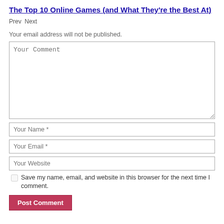The Top 10 Online Games (and What They're the Best At)
Prev Next
Your email address will not be published.
Your Comment
Your Name *
Your Email *
Your Website
Save my name, email, and website in this browser for the next time I comment.
Post Comment